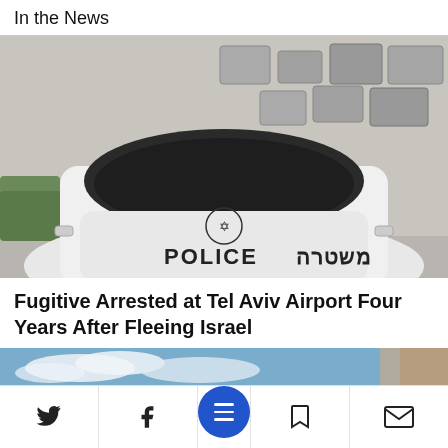In the News
[Figure (photo): Front view of an Israeli police car (white) with the word POLICE and Hebrew text on the hood, parked in front of a wall with multiple air conditioning units on top.]
Fugitive Arrested at Tel Aviv Airport Four Years After Fleeing Israel
[Figure (photo): Partial bottom image showing a blue sky with clouds and part of a building structure — beginning of the next news article's photo.]